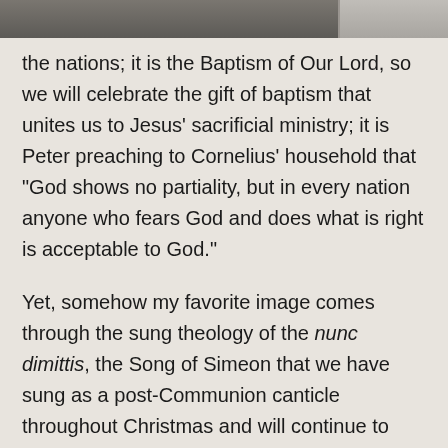[Figure (photo): Partial photo strip visible at top of page]
the nations; it is the Baptism of Our Lord, so we will celebrate the gift of baptism that unites us to Jesus' sacrificial ministry; it is Peter preaching to Cornelius' household that “God shows no partiality, but in every nation anyone who fears God and does what is right is acceptable to God."
Yet, somehow my favorite image comes through the sung theology of the nunc dimittis, the Song of Simeon that we have sung as a post-Communion canticle throughout Christmas and will continue to sing through the season of Time after Epiphany. Found in the second chapter of the Gospel of Like, Simeon’s song inspires hope in me. An old man holds a newborn babe in his arms and,